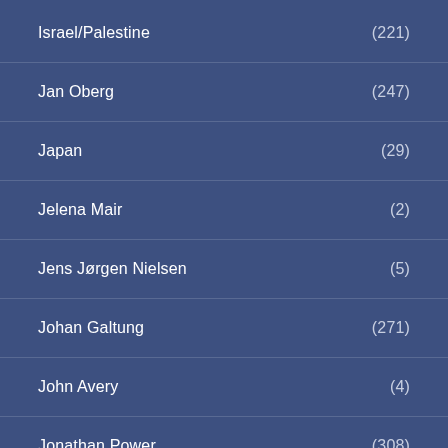Israel/Palestine (221)
Jan Oberg (247)
Japan (29)
Jelena Mair (2)
Jens Jørgen Nielsen (5)
Johan Galtung (271)
John Avery (4)
Jonathan Power (308)
Kamran Mofid (5)
Kosovo/a (22)